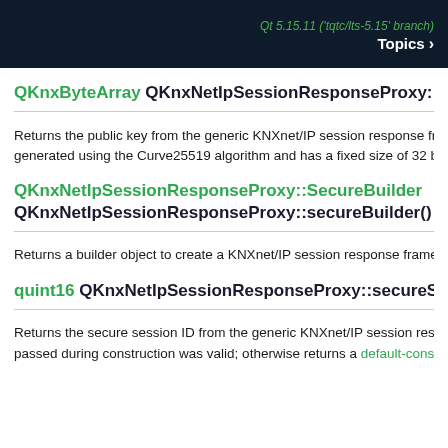Qt 5.15.11 ('tqtc/lts-5.15' branch)
Topics >
QKnxByteArray QKnxNetIpSessionResponseProxy::
Returns the public key from the generic KNXnet/IP session response frame generated using the Curve25519 algorithm and has a fixed size of 32 bytes.
QKnxNetIpSessionResponseProxy::SecureBuilder QKnxNetIpSessionResponseProxy::secureBuilder()
Returns a builder object to create a KNXnet/IP session response frame.
quint16 QKnxNetIpSessionResponseProxy::secureS
Returns the secure session ID from the generic KNXnet/IP session response passed during construction was valid; otherwise returns a default-constr